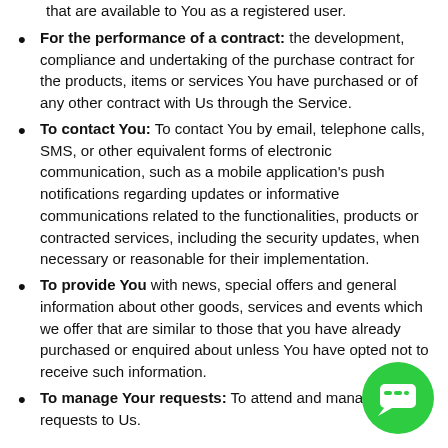that are available to You as a registered user.
For the performance of a contract: the development, compliance and undertaking of the purchase contract for the products, items or services You have purchased or of any other contract with Us through the Service.
To contact You: To contact You by email, telephone calls, SMS, or other equivalent forms of electronic communication, such as a mobile application's push notifications regarding updates or informative communications related to the functionalities, products or contracted services, including the security updates, when necessary or reasonable for their implementation.
To provide You with news, special offers and general information about other goods, services and events which we offer that are similar to those that you have already purchased or enquired about unless You have opted not to receive such information.
To manage Your requests: To attend and manage requests to Us.
[Figure (illustration): Green circular chat/messenger icon with speech bubble in white, positioned bottom-right corner]